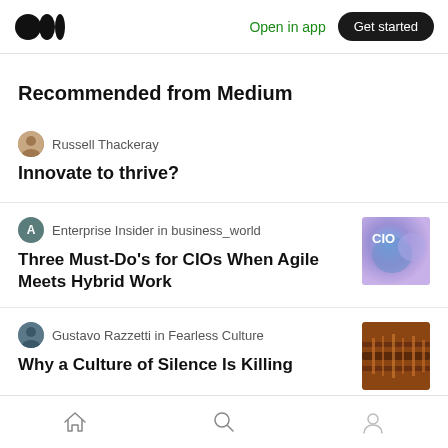Open in app | Get started
Recommended from Medium
Russell Thackeray
Innovate to thrive?
Enterprise Insider in business_world
Three Must-Do's for CIOs When Agile Meets Hybrid Work
Gustavo Razzetti in Fearless Culture
Why a Culture of Silence Is Killing
Home | Search | Profile